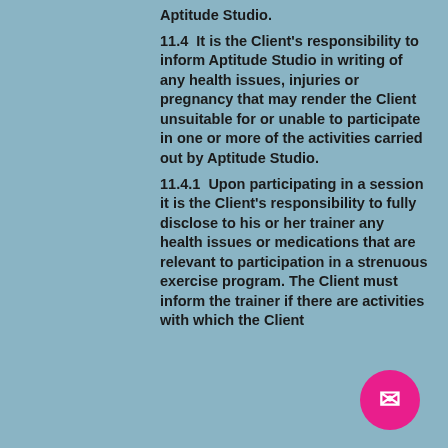Aptitude Studio.
11.4  It is the Client's responsibility to inform Aptitude Studio in writing of any health issues, injuries or pregnancy that may render the Client unsuitable for or unable to participate in one or more of the activities carried out by Aptitude Studio.
11.4.1  Upon participating in a session it is the Client's responsibility to fully disclose to his or her trainer any health issues or medications that are relevant to participation in a strenuous exercise program. The Client must inform the trainer if there are activities with which the Client